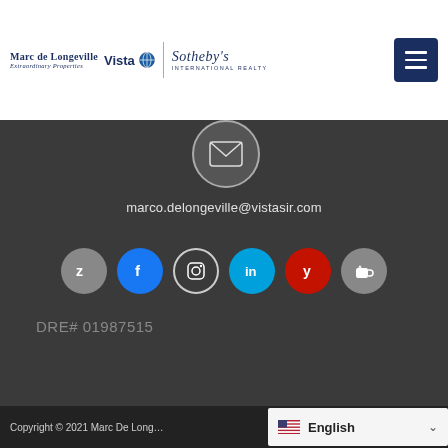[Figure (logo): Marc de Longeville Extraordinary Properties Vista Sotheby's International Realty logo with navigation menu button]
[Figure (illustration): Email/message icon in a circular badge on dark background]
marco.delongeville@vistasir.com
[Figure (illustration): Row of social media icons: Zillow (grey), Facebook (blue), Instagram (black outline), LinkedIn (cyan), Yelp (red), Coffee cup (grey)]
DRE# 01987515
Copyright © 2021 Marc De Longeville | English